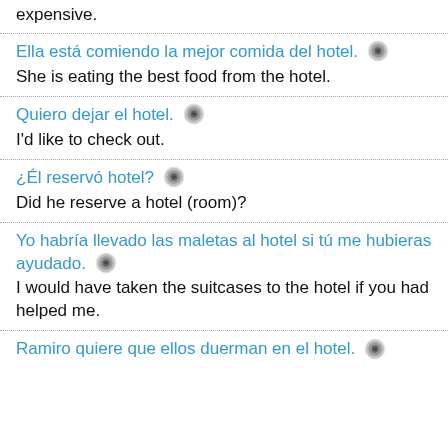expensive.
Ella está comiendo la mejor comida del hotel. [speaker] She is eating the best food from the hotel.
Quiero dejar el hotel. [speaker] I'd like to check out.
¿Él reservó hotel? [speaker] Did he reserve a hotel (room)?
Yo habría llevado las maletas al hotel si tú me hubieras ayudado. [speaker] I would have taken the suitcases to the hotel if you had helped me.
Ramiro quiere que ellos duerman en el hotel. [speaker]